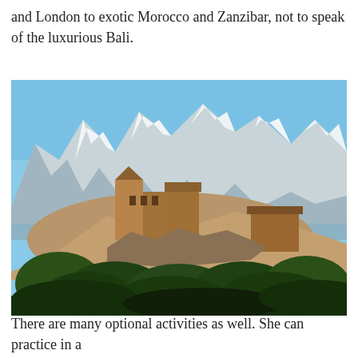and London to exotic Morocco and Zanzibar, not to speak of the luxurious Bali.
[Figure (photo): A photograph of a traditional Moroccan kasbah or hilltop fortress with brown earthen walls and wooden structures, set against snow-capped Atlas Mountains and a blue sky, with dense green trees and foliage in the foreground.]
There are many optional activities as well. She can practice in a